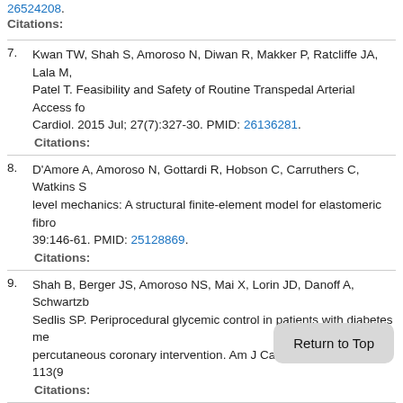26524208.
Citations:
7. Kwan TW, Shah S, Amoroso N, Diwan R, Makker P, Ratcliffe JA, Lala M, Patel T. Feasibility and Safety of Routine Transpedal Arterial Access fo... Cardiol. 2015 Jul; 27(7):327-30. PMID: 26136281.
Citations:
8. D'Amore A, Amoroso N, Gottardi R, Hobson C, Carruthers C, Watkins S... level mechanics: A structural finite-element model for elastomeric fibro... 39:146-61. PMID: 25128869.
Citations:
9. Shah B, Berger JS, Amoroso NS, Mai X, Lorin JD, Danoff A, Schwartzb... Sedlis SP. Periprocedural glycemic control in patients with diabetes me... percutaneous coronary intervention. Am J Cardiol. 2014 May 01; 113(9...
Citations:
10. Bangalore S, Toklu B, Amoroso N, Fusaro M, Kumar S, Hannan EL, Fa... eluting stents, and biodegradable polymer drug... coron... analysis. BMJ. 2013 Nov 08; 347:f6625. PMID...
Citations: